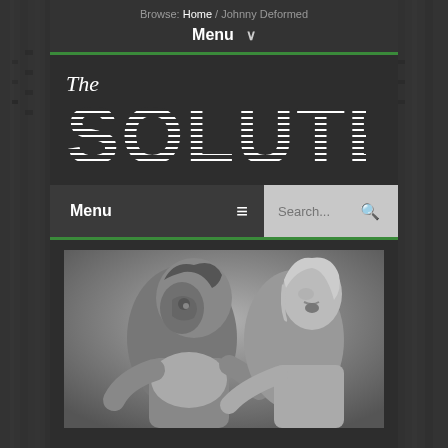Browse: Home / Johnny Deformed
Menu ∨
[Figure (logo): The Solute website logo - italic 'The' above large bold striped 'SOLUTE' text in white on dark background]
Menu ≡  Search...
[Figure (photo): Black and white photo of a monster or creature character with deformed face leaning toward a blonde woman who appears startled or frightened]